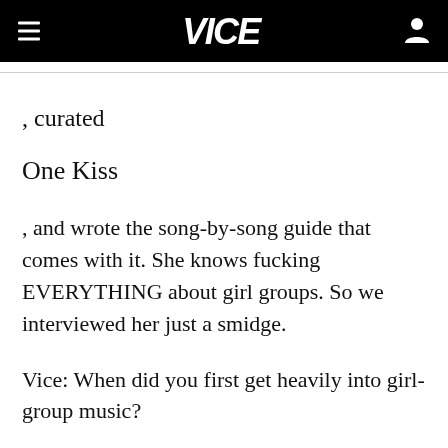VICE
, curated
One Kiss
, and wrote the song-by-song guide that comes with it. She knows fucking EVERYTHING about girl groups. So we interviewed her just a smidge.
Vice: When did you first get heavily into girl-group music?
She i...